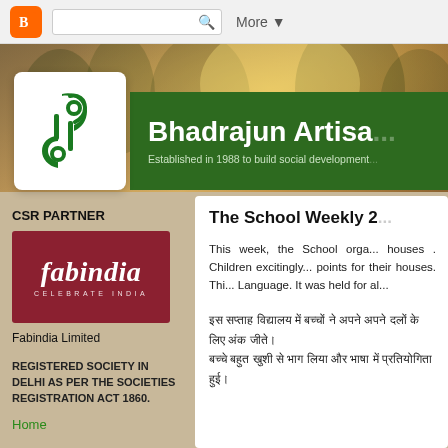[Figure (screenshot): Blogger top navigation bar with orange Blogger icon, search box, and More dropdown button]
[Figure (photo): Background nature/trees image with warm golden-brown tones used as page header background]
[Figure (logo): Bhadrajun Artisan organization logo in green on white card - stylized FC monogram]
Bhadrajun Artisa...
Established in 1988 to build social development...
CSR PARTNER
[Figure (logo): Fabindia logo - white text on dark red/maroon background with tagline CELEBRATE INDIA]
Fabindia Limited
REGISTERED SOCIETY IN DELHI AS PER THE SOCIETIES REGISTRATION ACT 1860.
Home
The School Weekly 2...
This week, the School orga... houses . Children excitingly... points for their houses. Thi... Language. It was held for al...
Hindi text content (Devanagari script)